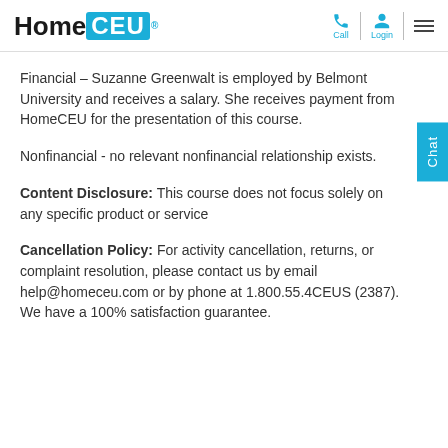HomeCEU — Call, Login, Menu
Financial – Suzanne Greenwalt is employed by Belmont University and receives a salary. She receives payment from HomeCEU for the presentation of this course.
Nonfinancial - no relevant nonfinancial relationship exists.
Content Disclosure: This course does not focus solely on any specific product or service
Cancellation Policy: For activity cancellation, returns, or complaint resolution, please contact us by email help@homeceu.com or by phone at 1.800.55.4CEUS (2387). We have a 100% satisfaction guarantee.